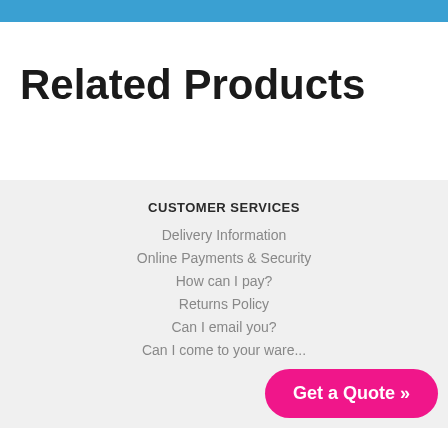Related Products
CUSTOMER SERVICES
Delivery Information
Online Payments & Security
How can I pay?
Returns Policy
Can I email you?
Can I come to your ware...
Get a Quote »